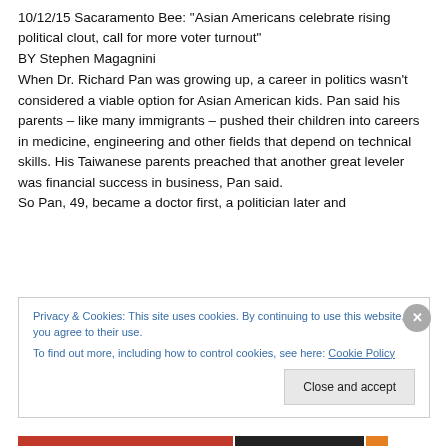10/12/15 Sacaramento Bee: “Asian Americans celebrate rising political clout, call for more voter turnout”
BY Stephen Magagnini
When Dr. Richard Pan was growing up, a career in politics wasn’t considered a viable option for Asian American kids. Pan said his parents – like many immigrants – pushed their children into careers in medicine, engineering and other fields that depend on technical skills. His Taiwanese parents preached that another great leveler was financial success in business, Pan said.
So Pan, 49, became a doctor first, a politician later and
Privacy & Cookies: This site uses cookies. By continuing to use this website, you agree to their use.
To find out more, including how to control cookies, see here: Cookie Policy